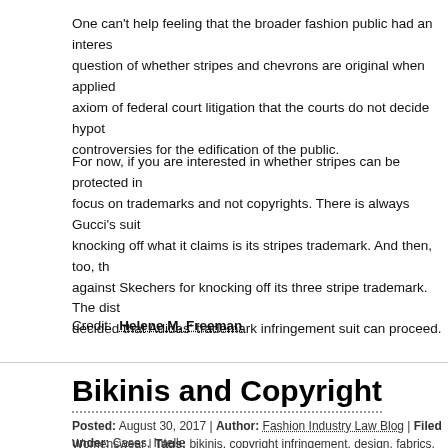One can't help feeling that the broader fashion public had an interest in the question of whether stripes and chevrons are original when applied to... axiom of federal court litigation that the courts do not decide hypothetical controversies for the edification of the public.
For now, if you are interested in whether stripes can be protected in... focus on trademarks and not copyrights. There is always Gucci's suit... knocking off what it claims is its stripes trademark. And then, too, th... against Skechers for knocking off its three stripe trademark. The dist... decided that Adidas' trademark infringement suit can proceed.
Credit:  Helene M. Freeman
Bikinis and Copyright
Posted: August 30, 2017 | Author: Fashion Industry Law Blog | Filed under: Cases, Intelle... Womenswear | Tags: bikinis, copyright infringement, design, fabrics, fashion, fashion des...
protection, Star Athletica, summer swimwear, Textiles |